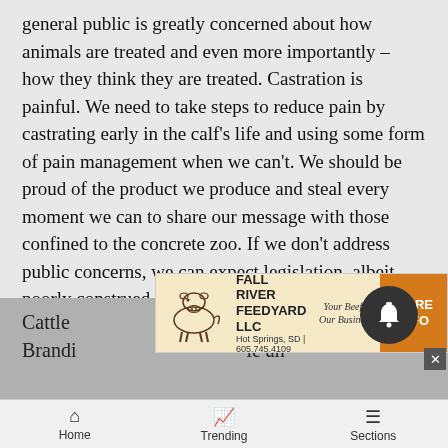general public is greatly concerned about how animals are treated and even more importantly – how they think they are treated. Castration is painful. We need to take steps to reduce pain by castrating early in the calf's life and using some form of pain management when we can't. We should be proud of the product we produce and steal every moment we can to share our message with those confined to the concrete zoo. If we don't address public concerns, we can expect legislation, albeit poorly construed, to create policies governing beef production. Ranchers are some of the best stewards of land and animals, and their efforts will continue to provide a flavorful and nutritious product well into the future.
Cattle ... Brandi ... le an
[Figure (other): Fall River Feedyard LLC advertisement banner with cow illustration, company name, location (Hot Springs, SD | 605.745.4109), slogan 'Your Beef is Our Business!', and orange 'MORE INFO' button]
Home   Trending   Sections